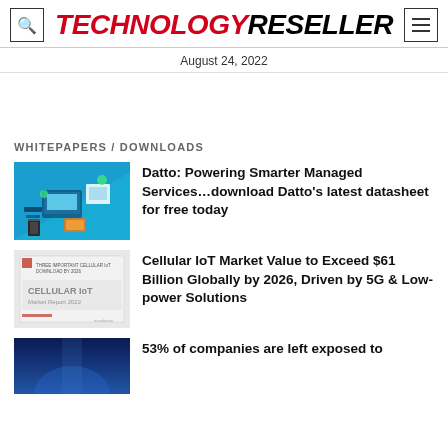TECHNOLOGY RESELLER
August 24, 2022
WHITEPAPERS / DOWNLOADS
[Figure (illustration): Datto branded illustration with technology devices on blue background]
Datto: Powering Smarter Managed Services…download Datto's latest datasheet for free today
[Figure (illustration): Cellular IoT market report cover with white/grey background and small text]
Cellular IoT Market Value to Exceed $61 Billion Globally by 2026, Driven by 5G & Low-power Solutions
[Figure (photo): Dark blue tech photo background]
53% of companies are left exposed to